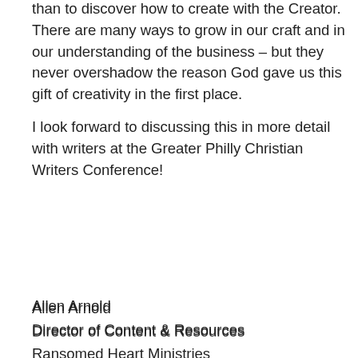than to discover how to create with the Creator. There are many ways to grow in our craft and in our understanding of the business – but they never overshadow the reason God gave us this gift of creativity in the first place.
I look forward to discussing this in more detail with writers at the Greater Philly Christian Writers Conference!
Allen Arnold
Director of Content & Resources
Ransomed Heart Ministries
↳ Reply
Follow Blog via Email